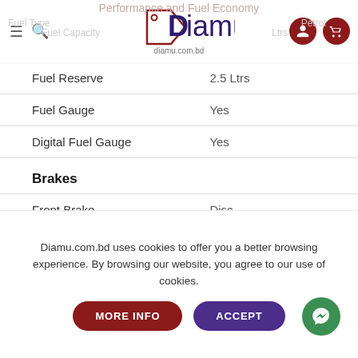Diamu — diamu.com.bd navigation bar with hamburger, search, logo, user and cart icons
Performance and Fuel Economy (partially visible)
Fuel Capacity — Ltrs (partially visible)
Fuel Type — Petrol (partially visible)
| Attribute | Value |
| --- | --- |
| Fuel Reserve | 2.5 Ltrs |
| Fuel Gauge | Yes |
| Digital Fuel Gauge | Yes |
| Brakes |  |
| Front Brake | Disc |
| Rear Brake | Drum |
| Front Brake Diameter | 270 mm |
Diamu.com.bd uses cookies to offer you a better browsing experience. By browsing our website, you agree to our use of cookies.
MORE INFO
ACCEPT